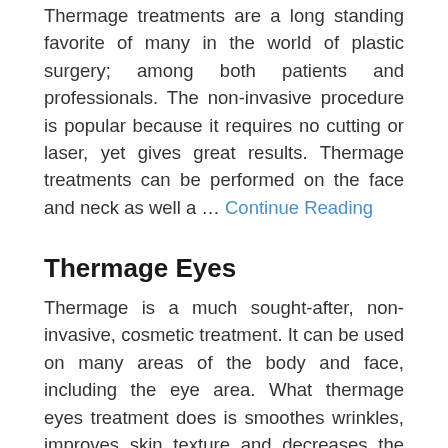Thermage treatments are a long standing favorite of many in the world of plastic surgery; among both patients and professionals. The non-invasive procedure is popular because it requires no cutting or laser, yet gives great results. Thermage treatments can be performed on the face and neck as well a … Continue Reading
Thermage Eyes
Thermage is a much sought-after, non-invasive, cosmetic treatment. It can be used on many areas of the body and face, including the eye area. What thermage eyes treatment does is smoothes wrinkles, improves skin texture and decreases the hooding look of the intraorbital and eyelid area. Thermage eye … Continue Reading